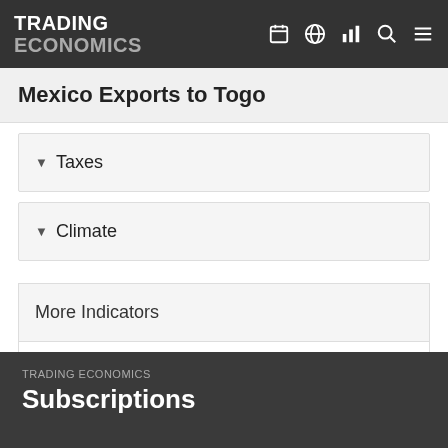TRADING ECONOMICS
Mexico Exports to Togo
Taxes
Climate
More Indicators
National Statistics
World Bank
TRADING ECONOMICS
Subscriptions